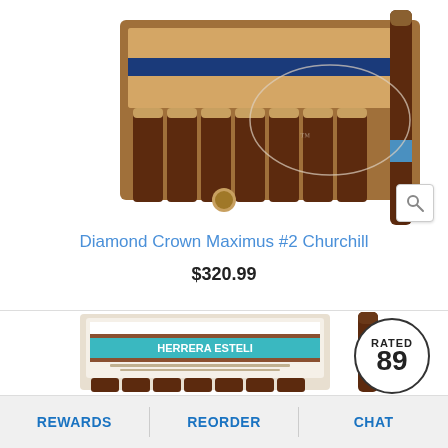[Figure (photo): Diamond Crown Maximus #2 Churchill cigar box open showing cigars with blue ribbon, and a single cigar standing upright with brand watermark in background]
Diamond Crown Maximus #2 Churchill
$320.99
[Figure (photo): Herrera Esteli cigar box open with teal/turquoise branded label and a single Herrera Esteli cigar standing upright, with a 'RATED 89' badge]
REWARDS   REORDER   CHAT